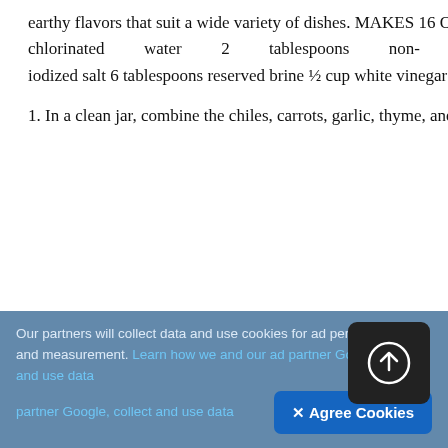earthy flavors that suit a wide variety of dishes. MAKES 16 OUNCES 2 ounces (about 8) fresh Scotch bonnet or habanero peppers, stemmed 1 cup baby carrots 10 garlic cloves 6 sprigs fresh thyme ¼ cup packed fresh cilantro 2½ cups non-chlorinated water 2 tablespoons non-iodized salt 6 tablespoons reserved brine ½ cup white vinegar 2 tablespoons lime juice 1 tablespoon ground mustard powder 1 teaspoon curry powder
1. In a clean jar, combine the chiles, carrots, garlic, thyme, and cilantro. 2. In a separate vessel, make brine by combining the water and salt. 3. Place a weight, if using, then pour the brine into the jar, leaving at least 1 inch of headspace. Screw the lid on
[Figure (other): Upload/share icon button — dark rounded square with a circled upward arrow symbol]
Our partners will collect data and use cookies for ad personalization and measurement. Learn how we and our ad partner Google, collect and use data
✕ Agree Cookies